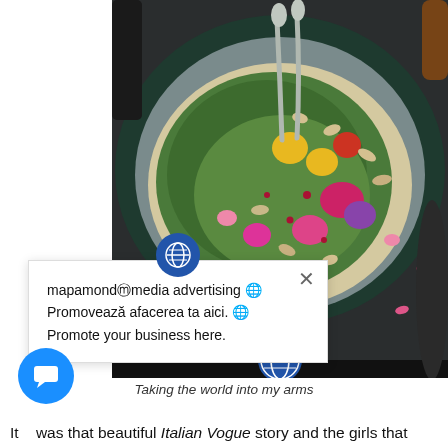[Figure (photo): Overhead view of a colorful bowl of food with green sauce, cherry tomatoes, edible flowers, pomegranate seeds, nuts, and two spoons, on a dark plate]
mapamondⓜmedia advertising 🌐 Promovează afacerea ta aici. 🌐 Promote your business here.
Taking the world into my arms
It was that beautiful Italian Vogue story and the girls that